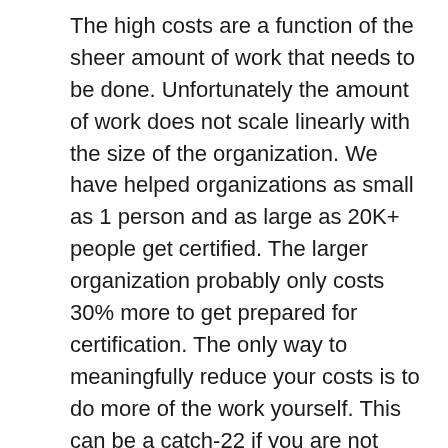The high costs are a function of the sheer amount of work that needs to be done. Unfortunately the amount of work does not scale linearly with the size of the organization. We have helped organizations as small as 1 person and as large as 20K+ people get certified. The larger organization probably only costs 30% more to get prepared for certification. The only way to meaningfully reduce your costs is to do more of the work yourself. This can be a catch-22 if you are not really familiar with ISO-27001, as you need guidance in order to be able to do the work.